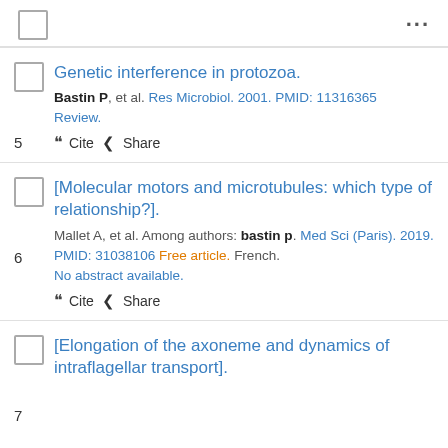5. Genetic interference in protozoa. Bastin P, et al. Res Microbiol. 2001. PMID: 11316365 Review.
6. [Molecular motors and microtubules: which type of relationship?]. Mallet A, et al. Among authors: bastin p. Med Sci (Paris). 2019. PMID: 31038106 Free article. French. No abstract available.
7. [Elongation of the axoneme and dynamics of intraflagellar transport].